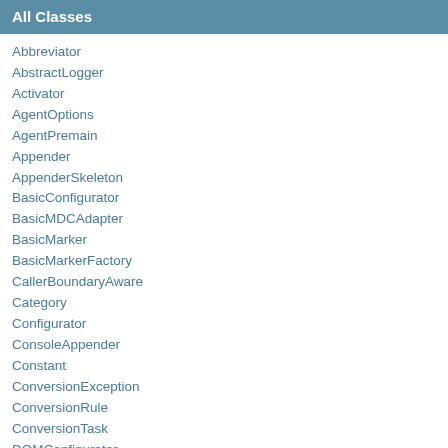All Classes
Abbreviator
AbstractLogger
Activator
AgentOptions
AgentPremain
Appender
AppenderSkeleton
BasicConfigurator
BasicMDCAdapter
BasicMarker
BasicMarkerFactory
CallerBoundaryAware
Category
Configurator
ConsoleAppender
Constant
ConversionException
ConversionRule
ConversionTask
DOMConfigurator
DefaultLoggingEvent
DefaultLoggingEventBuilder
DurationUnit
EmptyRuleSet
ErrorHandler
EventConstants